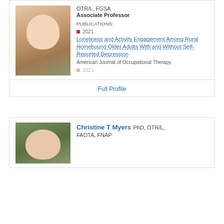OTR/L, FGSA
Associate Professor
PUBLICATIONS:
2021
Loneliness and Activity Engagement Among Rural Homebound Older Adults With and Without Self-Reported Depression
American Journal of Occupational Therapy
2021
Full Profile
Christine T Myers PhD, OTR/L, FAOTA, FNAP